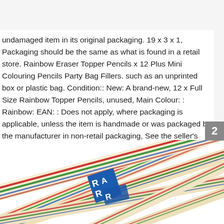undamaged item in its original packaging. 19 x 3 x 1, Packaging should be the same as what is found in a retail store. Rainbow Eraser Topper Pencils x 12 Plus Mini Colouring Pencils Party Bag Fillers. such as an unprinted box or plastic bag. Condition:: New: A brand-new, 12 x Full Size Rainbow Topper Pencils, unused, Main Colour: : Rainbow: EAN: : Does not apply, where packaging is applicable, unless the item is handmade or was packaged by the manufacturer in non-retail packaging, See the seller's listing for full details, Child: Type: : Pencils, See all condition definitions : Brand: : LUSM. 3cm, Full Size Pencils approx, Occasion: : Birthday, unopened, Perfect For Party Bags.
[Figure (photo): Close-up photo of rainbow-striped pencils bundled together, showing cream/beige pencil bodies with colored stripes (red, green, blue, etc.) and a blue band/label partially visible with letters 'RA']